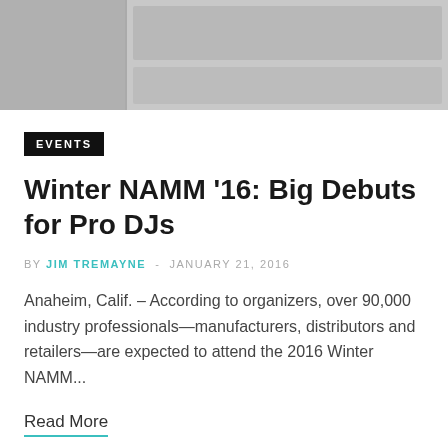[Figure (photo): Partially visible image of DJ or music equipment in grayscale, cropped at top]
EVENTS
Winter NAMM '16: Big Debuts for Pro DJs
BY JIM TREMAYNE - JANUARY 21, 2016
Anaheim, Calif. – According to organizers, over 90,000 industry professionals—manufacturers, distributors and retailers—are expected to attend the 2016 Winter NAMM...
Read More